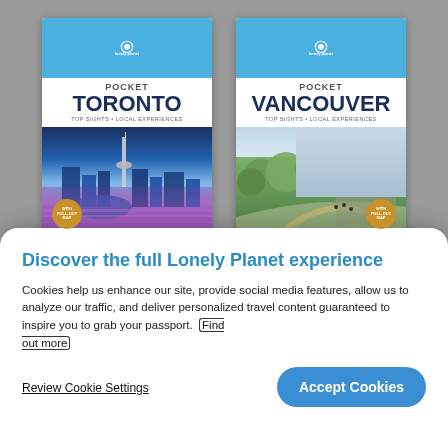[Figure (illustration): Two Lonely Planet Pocket travel guide book covers side by side: Pocket Toronto and Pocket Vancouver. Each shows city skyline/park photo with 'With Pull-out Map' badge. Background is gray.]
Discover the full Lonely Planet experience
Cookies help us enhance our site, provide social media features, allow us to analyze our traffic, and deliver personalized travel content guaranteed to inspire you to grab your passport. Find out more
Review Cookie Settings
Accept Cookies